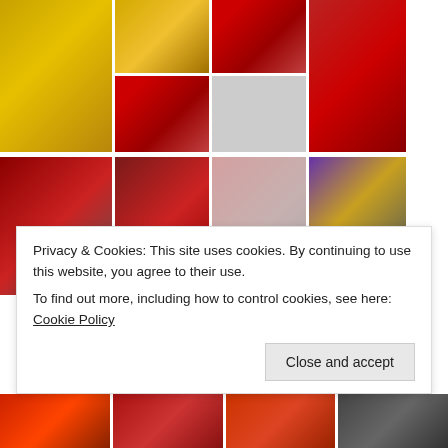[Figure (photo): Grid of fashion/red carpet photos showing women in colorful gowns and formal attire at what appears to be a Met Gala event. Top row: woman in large yellow gown, yellow gown on red stairs (two angles), woman in red gown. Middle row: couple on red carpet, woman in deep-V red lace outfit, woman in pale pink gown, woman in purple and gold crop top with navy skirt. Bottom strip: four partially visible photos.]
Privacy & Cookies: This site uses cookies. By continuing to use this website, you agree to their use.
To find out more, including how to control cookies, see here: Cookie Policy
Close and accept